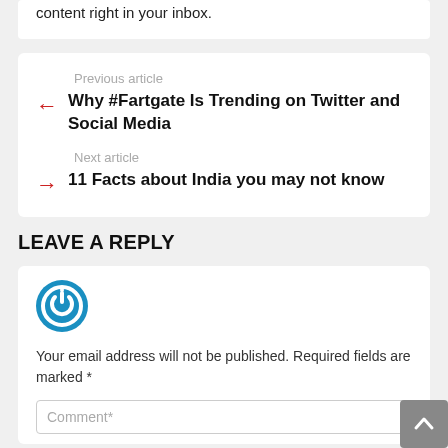content right in your inbox.
Previous article
Why #Fartgate Is Trending on Twitter and Social Media
Next article
11 Facts about India you may not know
LEAVE A REPLY
[Figure (logo): Blue circular power/on button icon]
Your email address will not be published. Required fields are marked *
Comment*